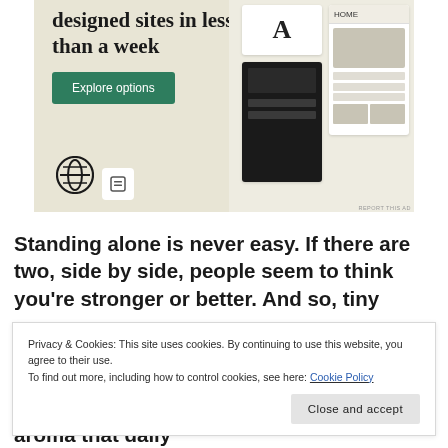[Figure (screenshot): WordPress advertisement banner showing 'designed sites in less than a week' headline with an 'Explore options' green button, WordPress logo, and website mockup screenshots on a beige background.]
Standing alone is never easy. If there are two, side by side, people seem to think you're stronger or better. And so, tiny
Privacy & Cookies: This site uses cookies. By continuing to use this website, you agree to their use. To find out more, including how to control cookies, see here: Cookie Policy
longer exist; but linger as the beautiful aroma that daily